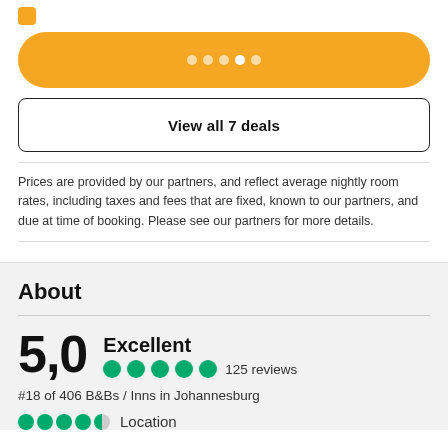[Figure (other): Yellow rounded rectangle button with four white dots (pagination indicator)]
View all 7 deals
Prices are provided by our partners, and reflect average nightly room rates, including taxes and fees that are fixed, known to our partners, and due at time of booking. Please see our partners for more details.
About
5,0  Excellent  125 reviews
#18 of 406 B&Bs / Inns in Johannesburg
Location